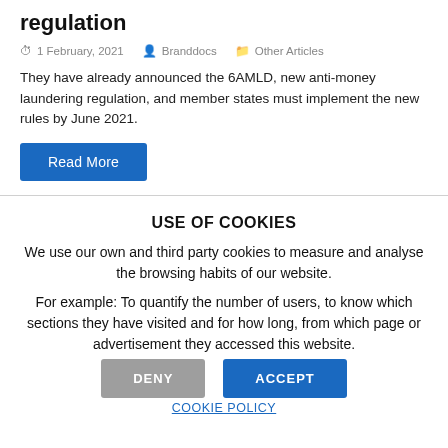regulation
1 February, 2021   Branddocs   Other Articles
They have already announced the 6AMLD, new anti-money laundering regulation, and member states must implement the new rules by June 2021.
Read More
USE OF COOKIES
We use our own and third party cookies to measure and analyse the browsing habits of our website.
For example: To quantify the number of users, to know which sections they have visited and for how long, from which page or advertisement they accessed this website.
DENY
ACCEPT
COOKIE POLICY